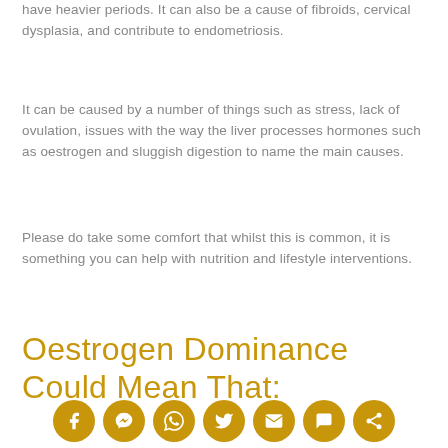have heavier periods. It can also be a cause of fibroids, cervical dysplasia, and contribute to endometriosis.
It can be caused by a number of things such as stress, lack of ovulation, issues with the way the liver processes hormones such as oestrogen and sluggish digestion to name the main causes.
Please do take some comfort that whilst this is common, it is something you can help with nutrition and lifestyle interventions.
Oestrogen Dominance Could Mean That:
[Figure (other): Row of seven social media icon buttons (Facebook, Messenger, WhatsApp, Twitter, Email, Chat, Share) as gold circles with white icons]